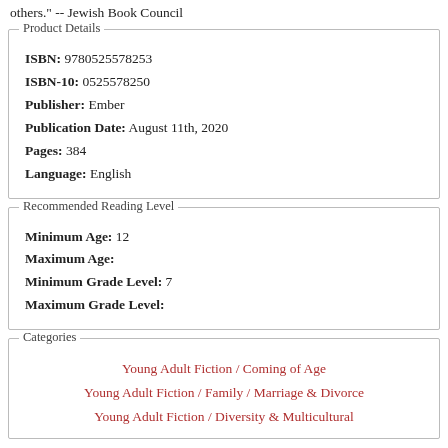others." -- Jewish Book Council
Product Details
ISBN: 9780525578253
ISBN-10: 0525578250
Publisher: Ember
Publication Date: August 11th, 2020
Pages: 384
Language: English
Recommended Reading Level
Minimum Age: 12
Maximum Age:
Minimum Grade Level: 7
Maximum Grade Level:
Categories
Young Adult Fiction / Coming of Age
Young Adult Fiction / Family / Marriage & Divorce
Young Adult Fiction / Diversity & Multicultural